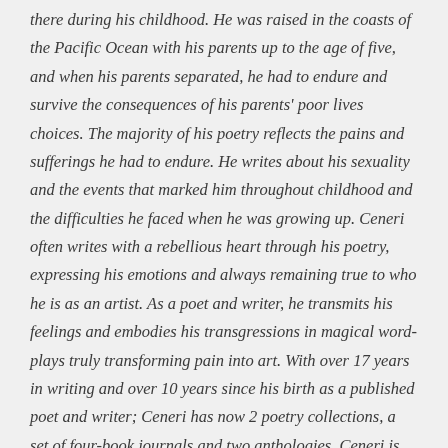there during his childhood. He was raised in the coasts of the Pacific Ocean with his parents up to the age of five, and when his parents separated, he had to endure and survive the consequences of his parents' poor lives choices. The majority of his poetry reflects the pains and sufferings he had to endure. He writes about his sexuality and the events that marked him throughout childhood and the difficulties he faced when he was growing up. Ceneri often writes with a rebellious heart through his poetry, expressing his emotions and always remaining true to who he is as an artist. As a poet and writer, he transmits his feelings and embodies his transgressions in magical word-plays truly transforming pain into art. With over 17 years in writing and over 10 years since his birth as a published poet and writer; Ceneri has now 2 poetry collections, a set of four-book journals and two anthologies. Ceneri is currently invested in Magesoul Publishing working with the founder, Carlos Medina and core executives to help the poetry community voices to be heard and recognized. Adric is a